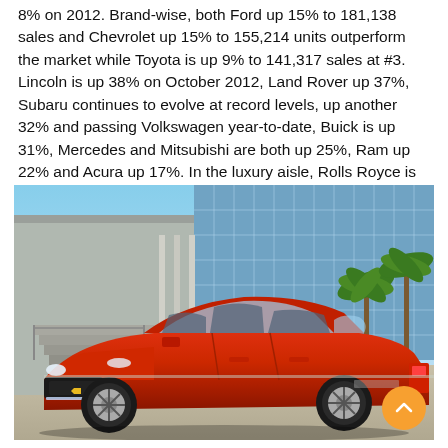8% on 2012. Brand-wise, both Ford up 15% to 181,138 sales and Chevrolet up 15% to 155,214 units outperform the market while Toyota is up 9% to 141,317 sales at #3. Lincoln is up 38% on October 2012, Land Rover up 37%, Subaru continues to evolve at record levels, up another 32% and passing Volkswagen year-to-date, Buick is up 31%, Mercedes and Mitsubishi are both up 25%, Ram up 22% and Acura up 17%. In the luxury aisle, Rolls Royce is up a whopping 190%, Maserati up 186% and Jaguar up 117%!
[Figure (photo): A red Chevrolet Impala sedan parked in front of a modern building with glass facade, palm trees visible in the background, blue sky.]